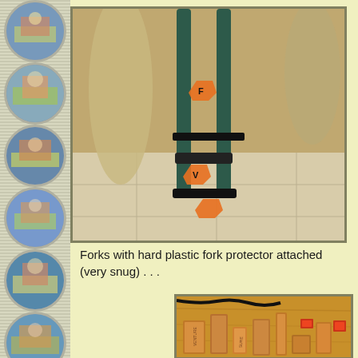[Figure (photo): Bicycle forks with orange tags attached, standing upright on a tiled floor with padding/blankets around them]
Forks with hard plastic fork protector attached (very snug) . . .
[Figure (photo): Wooden blocks/shims of various sizes laid out on a wooden surface, with some orange/red small items (tape or labels) nearby, and a black cable visible at top]